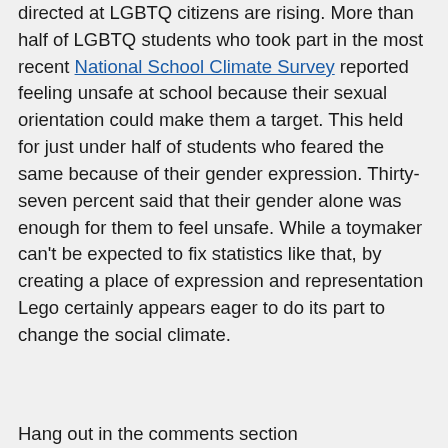directed at LGBTQ citizens are rising. More than half of LGBTQ students who took part in the most recent National School Climate Survey reported feeling unsafe at school because their sexual orientation could make them a target. This held for just under half of students who feared the same because of their gender expression. Thirty-seven percent said that their gender alone was enough for them to feel unsafe. While a toymaker can't be expected to fix statistics like that, by creating a place of expression and representation Lego certainly appears eager to do its part to change the social climate.
Hang out in the comments section